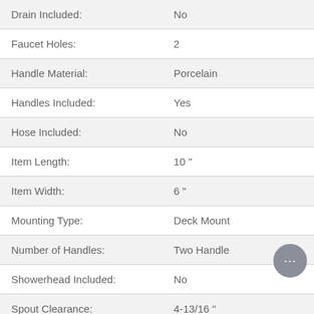| Property | Value |
| --- | --- |
| Drain Included: | No |
| Faucet Holes: | 2 |
| Handle Material: | Porcelain |
| Handles Included: | Yes |
| Hose Included: | No |
| Item Length: | 10 " |
| Item Width: | 6 " |
| Mounting Type: | Deck Mount |
| Number of Handles: | Two Handle |
| Showerhead Included: | No |
| Spout Clearance: | 4-13/16 " |